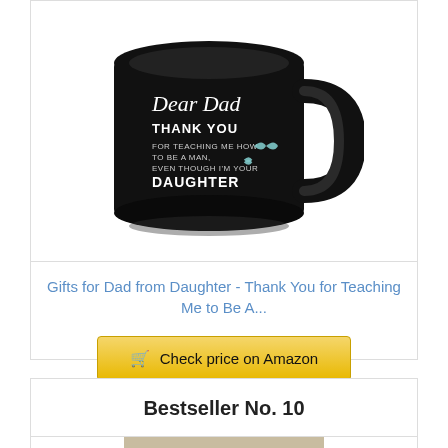[Figure (photo): Black coffee mug with text: Dear Dad THANK YOU FOR TEACHING ME HOW TO BE A MAN, EVEN THOUGH I'M YOUR DAUGHTER, with blue butterfly decorations]
Gifts for Dad from Daughter - Thank You for Teaching Me to Be A...
Check price on Amazon
Bestseller No. 10
[Figure (photo): Partial view of a wooden sign or plaque with text A PRAYER visible]